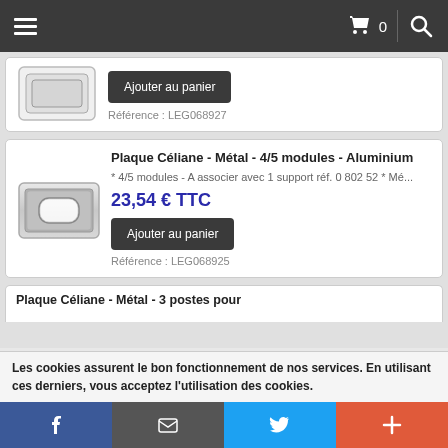Navigation bar with hamburger menu, cart (0), and search
[Figure (screenshot): Product image - electrical wall plate top (partial card)]
Ajouter au panier
Référence : LEG068927
Plaque Céliane - Métal - 4/5 modules - Aluminium
[Figure (photo): Product image - Aluminium wall plate for 4/5 modules, rectangular with rounded rectangle opening]
* 4/5 modules - A associer avec 1 support réf. 0 802 52 * Mé...
23,54 € TTC
Ajouter au panier
Référence : LEG068925
Plaque Céliane - Métal - 3 postes pour
Les cookies assurent le bon fonctionnement de nos services. En utilisant ces derniers, vous acceptez l'utilisation des cookies.
Social share bar: Facebook, Email, Twitter, Plus